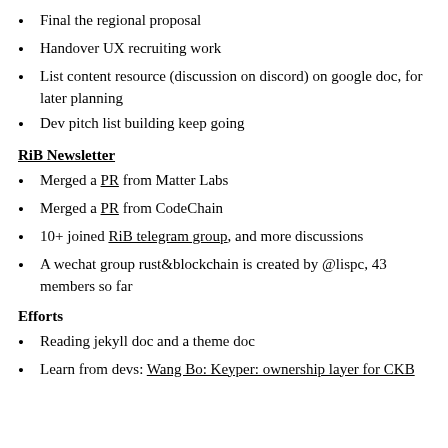Final the regional proposal
Handover UX recruiting work
List content resource (discussion on discord) on google doc, for later planning
Dev pitch list building keep going
RiB Newsletter
Merged a PR from Matter Labs
Merged a PR from CodeChain
10+ joined RiB telegram group, and more discussions
A wechat group rust&blockchain is created by @lispc, 43 members so far
Efforts
Reading jekyll doc and a theme doc
Learn from devs: Wang Bo: Keyper: ownership layer for CKB